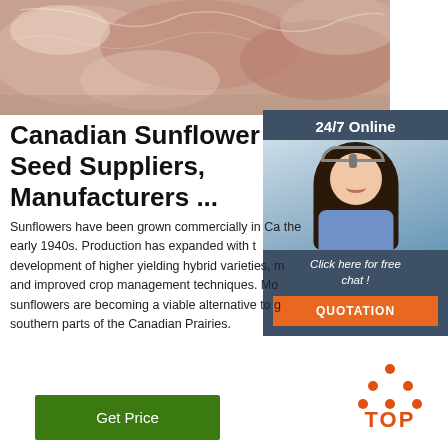[Figure (photo): Close-up photo of raw packaged meat products, pink and red tones]
[Figure (infographic): 24/7 Online chat widget with a woman wearing a headset, dark blue background, orange QUOTATION button]
Canadian Sunflower Seed Suppliers, Manufacturers ...
Sunflowers have been grown commercially in Ca the early 1940s. Production has expanded with the development of higher yielding hybrid varieties, m and improved crop management techniques. Mo sunflowers are becoming a viable alternative to g southern parts of the Canadian Prairies.
[Figure (other): Green Get Price button]
[Figure (logo): TOP logo with orange dots forming a triangle above the word TOP in orange]